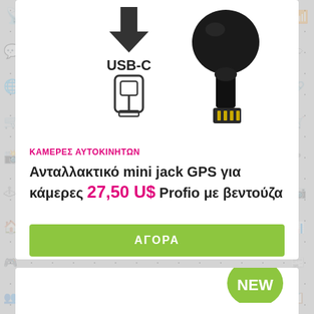[Figure (photo): USB-C connector icon illustration and GPS mini jack connector product photo (black ball mount with connector pins)]
ΚΑΜΕΡΕΣ ΑΥΤΟΚΙΝΗΤΩΝ
Ανταλλακτικό mini jack GPS για κάμερες Profio με βεντούζα
27,50 U$
ΑΓΟΡΑ
[Figure (illustration): Green speech bubble with 'NEW' badge label]